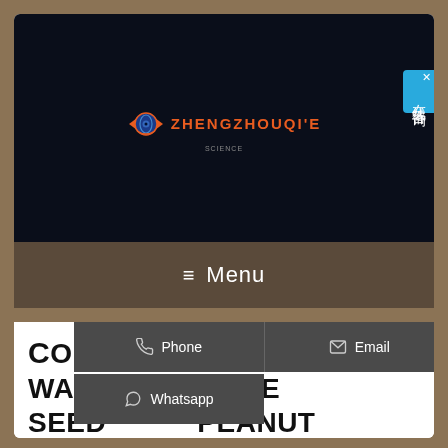[Figure (logo): Zhengzhou Qi'e company banner with dark background, orange globe/eye logo icon and orange bold text reading ZHENGZHOUQI'E]
[Figure (other): Chinese online chat widget (在线咨询) in blue on the right side of the banner]
≡ Menu
[Figure (other): Contact overlay with Phone, Email, and Whatsapp buttons on dark grey background]
COLD PRESS WALNUT SESAME SEED PEANUT LARGE COLD PRESS MACHINE